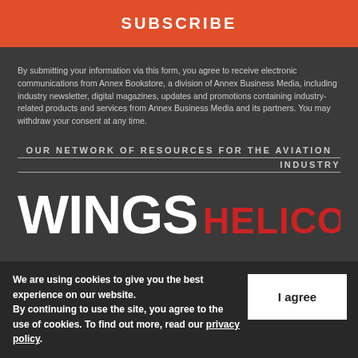SUBSCRIBE
By submitting your information via this form, you agree to receive electronic communications from Annex Bookstore, a division of Annex Business Media, including industry newsletter, digital magazines, updates and promotions containing industry-related products and services from Annex Business Media and its partners. You may withdraw your consent at any time.
OUR NETWORK OF RESOURCES FOR THE AVIATION INDUSTRY
[Figure (logo): WINGS HELICOPTERS logo — WINGS in large white bold text, HELICOPTERS in smaller red bold text]
We are using cookies to give you the best experience on our website. By continuing to use the site, you agree to the use of cookies. To find out more, read our privacy policy.